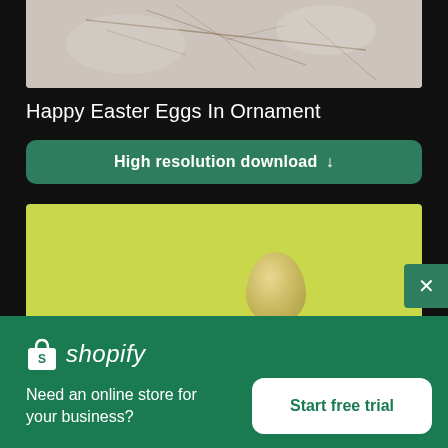[Figure (photo): Blurred botanical image with twigs/branches on white/grey background, partially shown at top]
Happy Easter Eggs In Ornament
High resolution download ↓
[Figure (photo): Single egg on lime green background]
[Figure (logo): Shopify logo with shopping bag icon and italic shopify text]
Need an online store for your business?
Start free trial